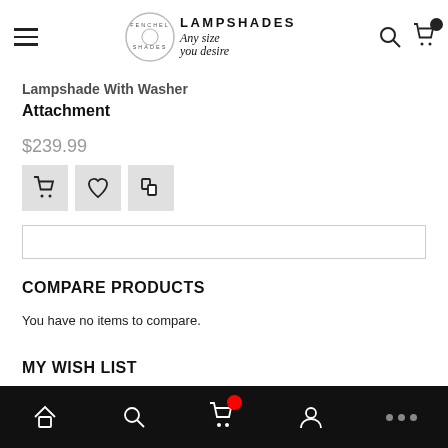Fenchel Shades Lampshades — Any size you desire
Lampshade With Washer Attachment
$239.99
[Figure (screenshot): Three action icon buttons: shopping cart, heart/wishlist, and share/compare — on light gray backgrounds]
[Figure (screenshot): Search input bar, empty, with border]
COMPARE PRODUCTS
You have no items to compare.
MY WISH LIST
Mobile navigation bar with home, search, cart (with red badge), account, and more icons